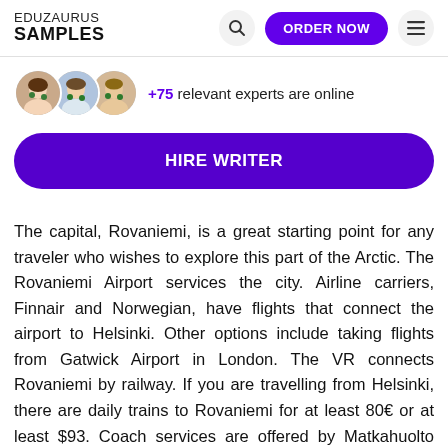EDUZAURUS SAMPLES
+75 relevant experts are online
HIRE WRITER
The capital, Rovaniemi, is a great starting point for any traveler who wishes to explore this part of the Arctic. The Rovaniemi Airport services the city. Airline carriers, Finnair and Norwegian, have flights that connect the airport to Helsinki. Other options include taking flights from Gatwick Airport in London. The VR connects Rovaniemi by railway. If you are travelling from Helsinki, there are daily trains to Rovaniemi for at least 80€ or at least $93. Coach services are offered by Matkahuolto and Omnibus. Ticket fares can